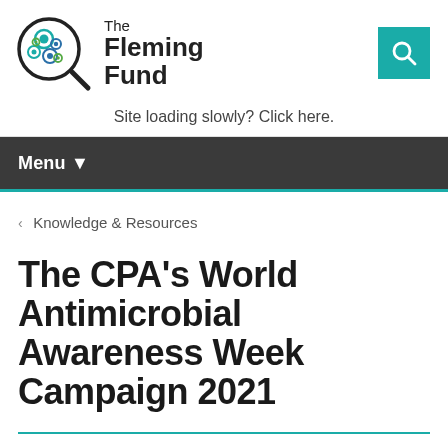[Figure (logo): The Fleming Fund logo — a magnifying glass with colorful circles (teal, blue, green) inside, next to the text 'The Fleming Fund']
The Fleming Fund
Site loading slowly? Click here.
Menu ▼
‹  Knowledge & Resources
The CPA's World Antimicrobial Awareness Week Campaign 2021